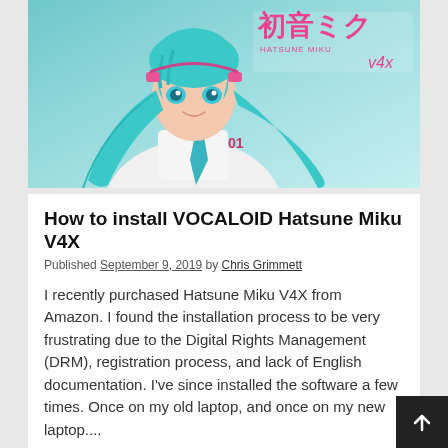[Figure (illustration): Anime illustration of Hatsune Miku character with teal twin tails, wearing white outfit with blue tie, with Japanese text and 'HATSUNE MIKU V4X' logo in upper right corner]
How to install VOCALOID Hatsune Miku V4X
Published September 9, 2019 by Chris Grimmett
I recently purchased Hatsune Miku V4X from Amazon. I found the installation process to be very frustrating due to the Digital Rights Management (DRM), registration process, and lack of English documentation. I've since installed the software a few times. Once on my old laptop, and once on my new laptop....
Continue reading
💬 12 Comments